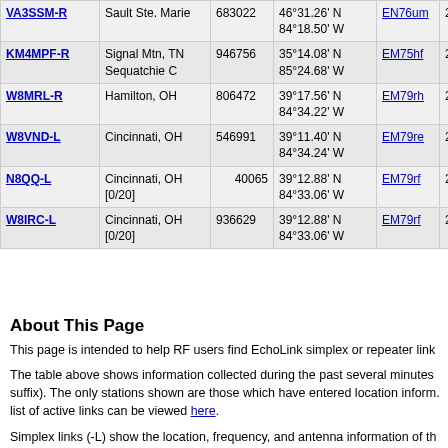| Callsign | Location | Node | Coordinates | Grid | Dist | Freq |
| --- | --- | --- | --- | --- | --- | --- |
| VA3SSM-R | Sault Ste. Marie | 683022 | 46°31.26' N 84°18.50' W | EN76um | 2673.1 | 147.06 |
| KM4MPF-R | Signal Mtn, TN Sequatchie C | 946756 | 35°14.08' N 85°24.68' W | EM75hf | 2673.4 | 444.70 |
| W8MRL-R | Hamilton, OH | 806472 | 39°17.56' N 84°34.22' W | EM79rh | 2676.7 | 146.70 |
| W8VND-L | Cincinnati, OH | 546991 | 39°11.40' N 84°34.24' W | EM79re | 2677.5 | 147.24 |
| N8QQ-L | Cincinnati, OH [0/20] | 40065 | 39°12.88' N 84°33.06' W | EM79rf | 2678.4 |  |
| W8IRC-L | Cincinnati, OH [0/20] | 936629 | 39°12.88' N 84°33.06' W | EM79rf | 2678.4 |  |
About This Page
This page is intended to help RF users find EchoLink simplex or repeater link
The table above shows information collected during the past several minutes. suffix). The only stations shown are those which have entered location inform. list of active links can be viewed here.
Simplex links (-L) show the location, frequency, and antenna information of the output frequency, and antenna information of the repeater it serves. The valu approximate.